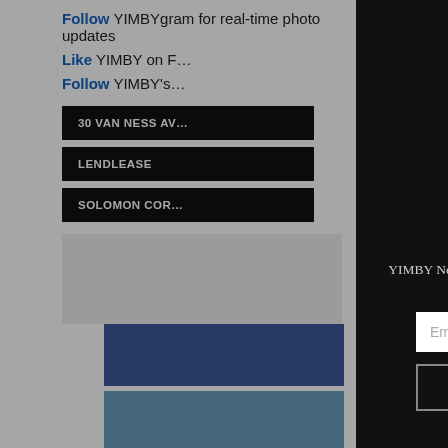Follow YIMBYgram for real-time photo updates
Like YIMBY on F...
Follow YIMBY's...
30 VAN NESS AV...
LENDLEASE
SOLOMON COR...
[Figure (screenshot): YIMBY AM newsletter modal overlay with envelope logo, headline 'What's happening in your backyard?', subtext, email input, and subscribe button]
What's happening in your backyard?
YIMBY News delivers the day's top new development stories to your inbox every weekday morning.
Email
SUBSCRIBE